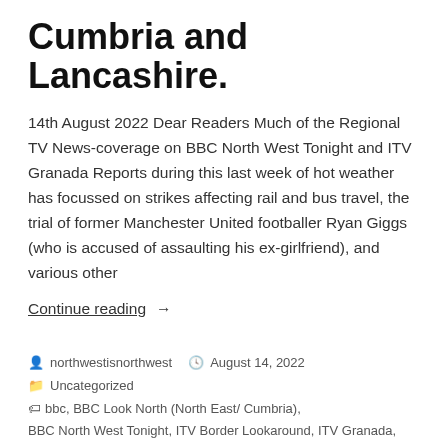Cumbria and Lancashire.
14th August 2022 Dear Readers Much of the Regional TV News-coverage on BBC North West Tonight and ITV Granada Reports during this last week of hot weather has focussed on strikes affecting rail and bus travel, the trial of former Manchester United footballer Ryan Giggs (who is accused of assaulting his ex-girlfriend), and various other
Continue reading  →
👤 northwestisnorthwest  🕓 August 14, 2022
📁 Uncategorized
🏷 bbc, BBC Look North (North East/ Cumbria),
BBC North West Tonight, ITV Border Lookaround, ITV Granada,
ITV Granada Reports, ITV.Plc, local news, North Lancashire,